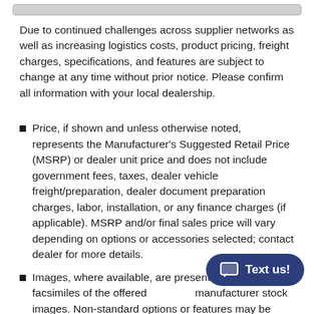Due to continued challenges across supplier networks as well as increasing logistics costs, product pricing, freight charges, specifications, and features are subject to change at any time without prior notice. Please confirm all information with your local dealership.
Price, if shown and unless otherwise noted, represents the Manufacturer's Suggested Retail Price (MSRP) or dealer unit price and does not include government fees, taxes, dealer vehicle freight/preparation, dealer document preparation charges, labor, installation, or any finance charges (if applicable). MSRP and/or final sales price will vary depending on options or accessories selected; contact dealer for more details.
Images, where available, are presented as reasonable facsimiles of the offered unit from manufacturer stock images. Non-standard options or features may be represented. No guarantee of